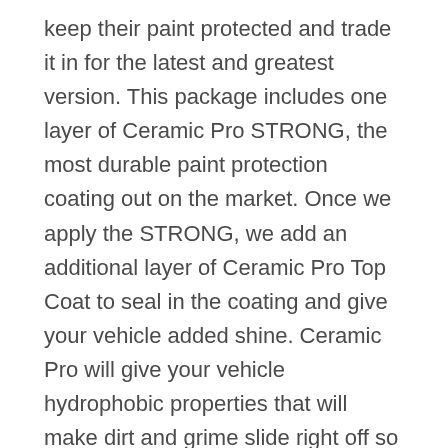keep their paint protected and trade it in for the latest and greatest version. This package includes one layer of Ceramic Pro STRONG, the most durable paint protection coating out on the market. Once we apply the STRONG, we add an additional layer of Ceramic Pro Top Coat to seal in the coating and give your vehicle added shine. Ceramic Pro will give your vehicle hydrophobic properties that will make dirt and grime slide right off so washing your vehicle becomes an easy task. This paint protection coating will keep your vehicle's paint protected from insects, tree sap, the sun's UV rays, dirt, and debris. If you want your vehicle to stay looking its best, then Ceramic Pro is right for you. Finally, we add Ceramic Pro Rain to the front side windows and windshield to keep your vehicle protected in all weather conditions. The Ceramic Pro Silver